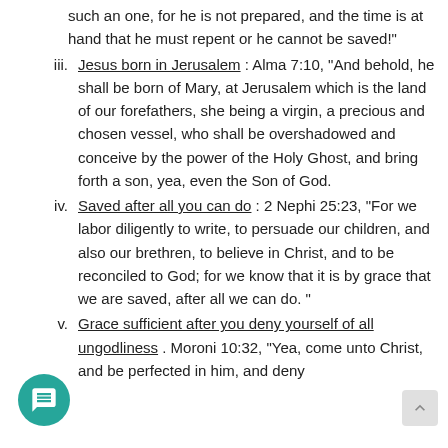such an one, for he is not prepared, and the time is at hand that he must repent or he cannot be saved!"
Jesus born in Jerusalem : Alma 7:10, "And behold, he shall be born of Mary, at Jerusalem which is the land of our forefathers, she being a virgin, a precious and chosen vessel, who shall be overshadowed and conceive by the power of the Holy Ghost, and bring forth a son, yea, even the Son of God.
Saved after all you can do : 2 Nephi 25:23, "For we labor diligently to write, to persuade our children, and also our brethren, to believe in Christ, and to be reconciled to God; for we know that it is by grace that we are saved, after all we can do. "
Grace sufficient after you deny yourself of all ungodliness . Moroni 10:32, "Yea, come unto Christ, and be perfected in him, and deny